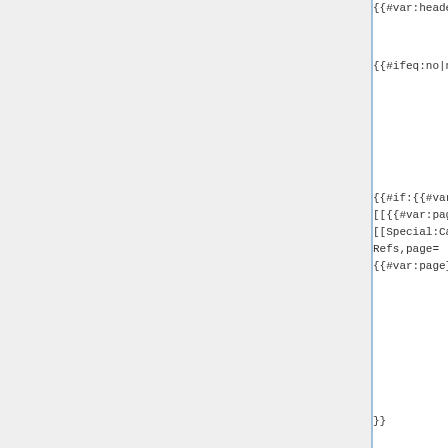{{#var:header}}|no||
{{#ifeq:no|no||
{{#if:{{#var:DtA... ({{#var:DtArtic...
{{#if:{{#var:refs}}|  list help  [[Special: [[{{#var:page}}|no_ref's]]|  copy,cat= [[Special:Call/DT Article show   {{#var:page}},nams Refs,page=  [[Special:Call... {{#var:page}},refs=yes|ref's]]}}}}}  XML,type {{#var:page}},na...
}}
Information Card Identity Selector Verify AppliesTo information is present in Relying Party policy when Auditing Card used - Maturity: Emerging {{#if: | ( ) }}
| Check that the RP has returned token scope |  |  |  |
| --- | --- | --- | --- |
| Check that the RP has returned token scope |  |  | Use an |